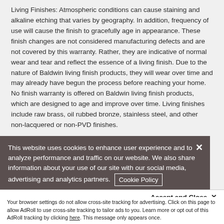Living Finishes: Atmospheric conditions can cause staining and alkaline etching that varies by geography. In addition, frequency of use will cause the finish to gracefully age in appearance. These finish changes are not considered manufacturing defects and are not covered by this warranty. Rather, they are indicative of normal wear and tear and reflect the essence of a living finish. Due to the nature of Baldwin living finish products, they will wear over time and may already have begun the process before reaching your home. No finish warranty is offered on Baldwin living finish products, which are designed to age and improve over time. Living finishes include raw brass, oil rubbed bronze, stainless steel, and other non-lacquered or non-PVD finishes.
This website uses cookies to enhance user experience and to analyze performance and traffic on our website. We also share information about your use of our site with our social media, advertising and analytics partners. Cookie Policy
Accept and Close ✕
Your browser settings do not allow cross-site tracking for advertising. Click on this page to allow AdRoll to use cross-site tracking to tailor ads to you. Learn more or opt out of this AdRoll tracking by clicking here. This message only appears once.